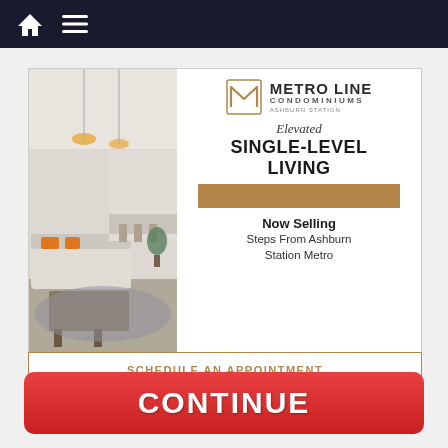Navigation bar with home and menu icons
[Figure (illustration): Advertisement for Metro Line Condominiums at Ashburn Station. Left side shows a photo of a modern living room interior. Right side shows the Metro Line Condominiums logo, text reading 'Elevated SINGLE-LEVEL LIVING', 'Now Selling Steps From Ashburn Station Metro', and a 'SCHEDULE AN APPOINTMENT' button.]
SCHEDULE AN APPOINTMENT
CONTINUE